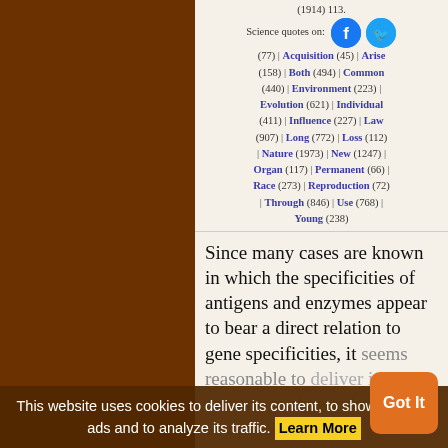(1914) 113. Science quotes on: Follow | Acquisition (45) | Arise (158) | Both (494) | Common (440) | Environment (223) | Evolution (621) | Individual (411) | Influence (227) | Law (907) | Long (772) | Loss (112) | Nature (1973) | New (1247) | Organ (117) | Permanent (66) | Race (273) | Reproduction (72) | Through (846) | Use (768) | Young (238)
Since many cases are known in which the specificities of antigens and enzymes appear to bear a direct relation to gene specificities, it seems reasonable to deliver its gene's content, to show relevant ads and possibly directing the final
This website uses cookies to deliver its content, to show relevant ads and to analyze its traffic. Learn More